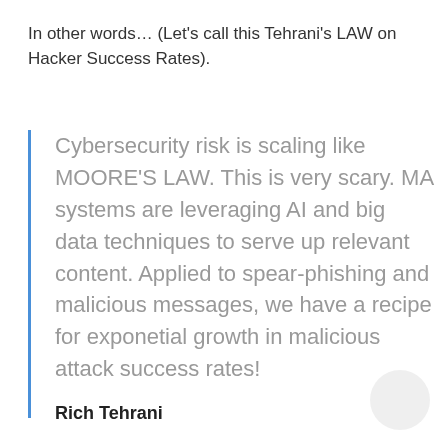In other words… (Let's call this Tehrani's LAW on Hacker Success Rates).
Cybersecurity risk is scaling like MOORE'S LAW. This is very scary. MA systems are leveraging AI and big data techniques to serve up relevant content. Applied to spear-phishing and malicious messages, we have a recipe for exponetial growth in malicious attack success rates!
Rich Tehrani